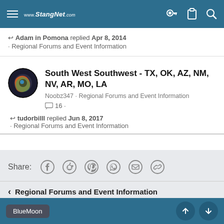www.StangNet.com
↩ Adam in Pomona replied Apr 8, 2014 · Regional Forums and Event Information
South West Southwest - TX, OK, AZ, NM, NV, AR, MO, LA
Noobz347 · Regional Forums and Event Information
16 ·
↩ tudorbilll replied Jun 8, 2017 · Regional Forums and Event Information
Share:
‹ Regional Forums and Event Information
BlueMoon